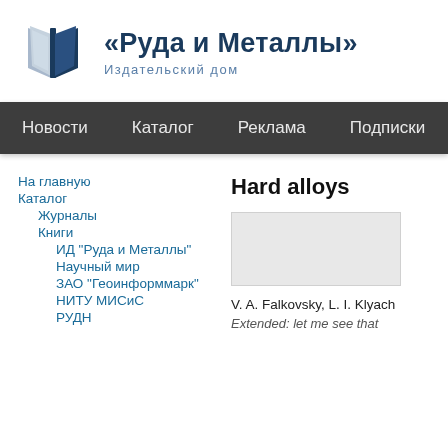[Figure (logo): Open book logo icon for Ruda i Metally publishing house]
«Руда и Металлы» Издательский дом
Новости   Каталог   Реклама   Подписки   А
На главную
Каталог
Журналы
Книги
ИД "Руда и Металлы"
Научный мир
ЗАО "Геоинформмарк"
НИТУ МИСиС
РУДН
Hard alloys
[Figure (photo): Book cover image placeholder (light gray box)]
V. A. Falkovsky, L. I. Klyach
Extended: let me see that